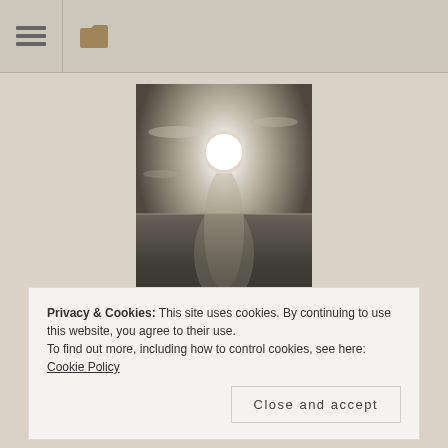≡ [folder icon]
[Figure (photo): Black and white photograph of sun over water/ocean, viewed from a boat deck with sun glare on the water surface]
CHRIS CHANT POETRY
Using Motivation, Experiences and Poetry to combat the stigma of mental health. Encryption of the mind!
Privacy & Cookies: This site uses cookies. By continuing to use this website, you agree to their use.
To find out more, including how to control cookies, see here: Cookie Policy
Close and accept